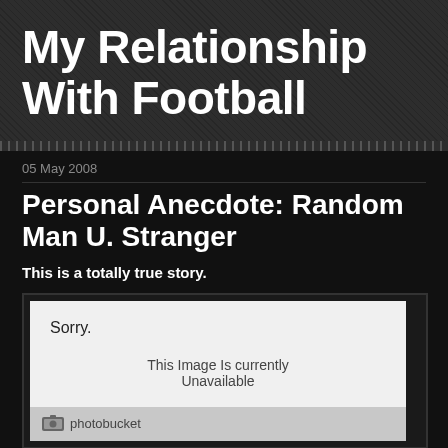My Relationship With Football
05 May 2008
Personal Anecdote: Random Man U. Stranger
This is a totally true story.
[Figure (screenshot): Photobucket image placeholder showing 'Sorry. This Image Is currently Unavailable' with photobucket logo at the bottom.]